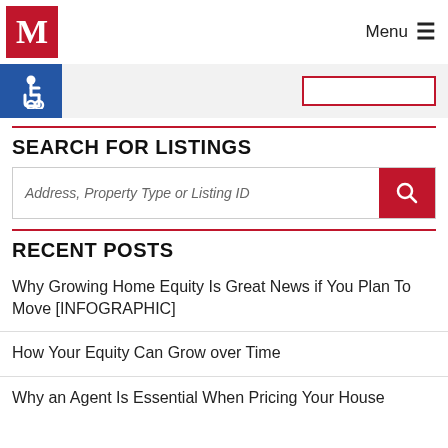M Menu
[Figure (logo): Accessibility icon (wheelchair symbol) on blue background]
SEARCH FOR LISTINGS
Address, Property Type or Listing ID
RECENT POSTS
Why Growing Home Equity Is Great News if You Plan To Move [INFOGRAPHIC]
How Your Equity Can Grow over Time
Why an Agent Is Essential When Pricing Your House